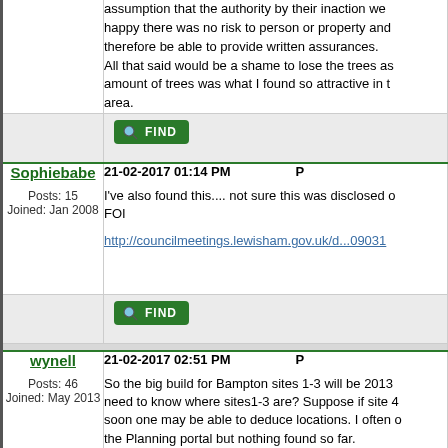assumption that the authority by their inaction were happy there was no risk to person or property and therefore be able to provide written assurances. All that said would be a shame to lose the trees as amount of trees was what I found so attractive in the area.
Sophiebabe
21-02-2017 01:14 PM
Posts: 15
Joined: Jan 2008
I've also found this.... not sure this was disclosed on FOI
http://councilmeetings.lewisham.gov.uk/d...090310
wynell
21-02-2017 02:51 PM
Posts: 46
Joined: May 2013
So the big build for Bampton sites 1-3 will be 2013... need to know where sites1-3 are? Suppose if site 4 soon one may be able to deduce locations. I often on the Planning portal but nothing found so far.